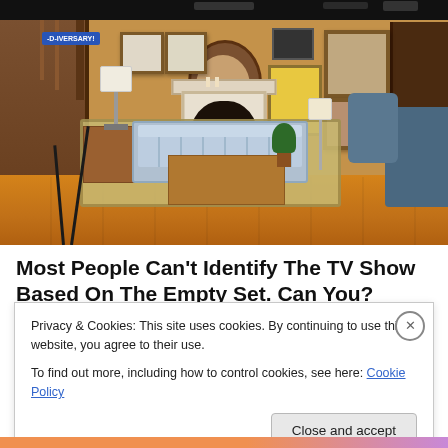[Figure (photo): Interior of a TV show living room set — features a plaid/checkered sofa, wooden coffee table, fireplace with white surround, framed artwork on warm tan walls, a staircase on the left, plants, floor lamps, and blue armchairs on the right. Studio lighting rigs are visible at the top. A birthday/anniversary banner is visible top-left.]
Most People Can't Identify The TV Show Based On The Empty Set. Can You?
Privacy & Cookies: This site uses cookies. By continuing to use this website, you agree to their use.
To find out more, including how to control cookies, see here: Cookie Policy